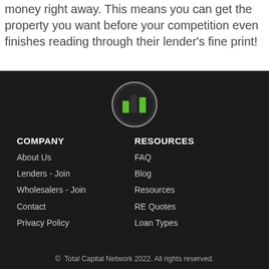money right away. This means you can get the property you want before your competition even finishes reading through their lender's fine print!
[Figure (logo): Total Capital Network logo: circular icon with green and dark bar chart shapes inside a dark circle with light border]
COMPANY
RESOURCES
About Us
FAQ
Lenders - Join
Blog
Wholesalers - Join
Resources
Contact
RE Quotes
Privacy Policy
Loan Types
© Total Capital Network 2022. All rights reserved.